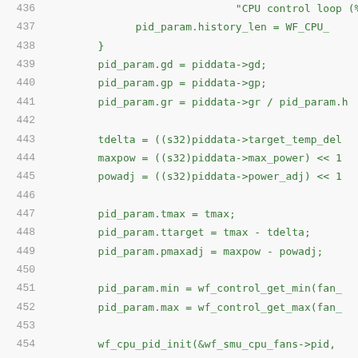[Figure (screenshot): Source code listing showing lines 436–456 of a C program implementing CPU fan control PID logic. Line numbers are shown in gray on the left; code text is shown in green monospace font on the right. The code includes assignments to pid_param struct fields (gd, gp, gr, tmax, ttarget, pmaxadj, min, max), computation of tdelta, maxpow, powadj variables, a call to wf_cpu_pid_init, and a DBG print statement.]